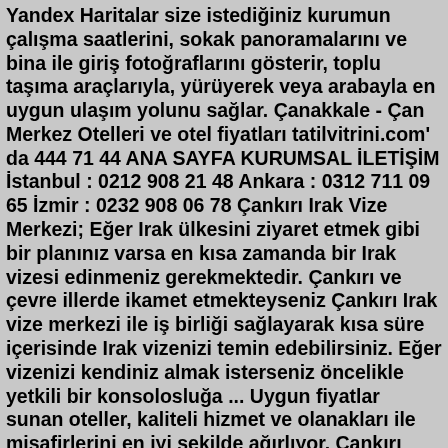Yandex Haritalar size istediğiniz kurumun çalışma saatlerini, sokak panoramalarını ve bina ile giriş fotoğraflarını gösterir, toplu taşıma araçlarıyla, yürüyerek veya arabayla en uygun ulaşım yolunu sağlar. Çanakkale - Çan Merkez Otelleri ve otel fiyatları tatilvitrini.com' da 444 71 44 ANA SAYFA KURUMSAL İLETİŞİM İstanbul : 0212 908 21 48 Ankara : 0312 711 09 65 İzmir : 0232 908 06 78 Çankırı Irak Vize Merkezi; Eğer Irak ülkesini ziyaret etmek gibi bir planınız varsa en kısa zamanda bir Irak vizesi edinmeniz gerekmektedir. Çankırı ve çevre illerde ikamet etmekteyseniz Çankırı Irak vize merkezi ile iş birliği sağlayarak kısa süre içerisinde Irak vizenizi temin edebilirsiniz. Eğer vizenizi kendiniz almak isterseniz öncelikle yetkili bir konsolosluğa ... Uygun fiyatlar sunan oteller, kaliteli hizmet ve olanakları ile misafirlerini en iyi şekilde ağırlıyor. Çankırı merkez otel fiyatları tesislerin özelliklerine göre farklılık gösteriyor. Otellerin sunduğu; havuz, toplantı salonu, oda servisi ve internet gibi hizmetler tesislerin cazibesini arttırıyor.